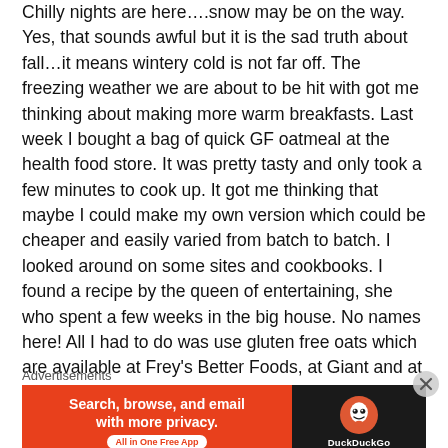Chilly nights are here….snow may be on the way. Yes, that sounds awful but it is the sad truth about fall…it means wintery cold is not far off. The freezing weather we are about to be hit with got me thinking about making more warm breakfasts. Last week I bought a bag of quick GF oatmeal at the health food store.  It was pretty tasty and only took a few minutes to cook up. It got me thinking that maybe I could make my own version which could be cheaper and easily varied from batch to batch.  I looked around on some sites and cookbooks. I found a recipe by the queen of entertaining, she who spent a few weeks in the big house.  No names here! All I had to do was use gluten free oats which are available at Frey's Better Foods,  at Giant and at Wogman's grocery store.   I added
Advertisements
[Figure (other): DuckDuckGo advertisement banner: orange left side reads 'Search, browse, and email with more privacy. All in One Free App'; dark right side shows DuckDuckGo logo and name.]